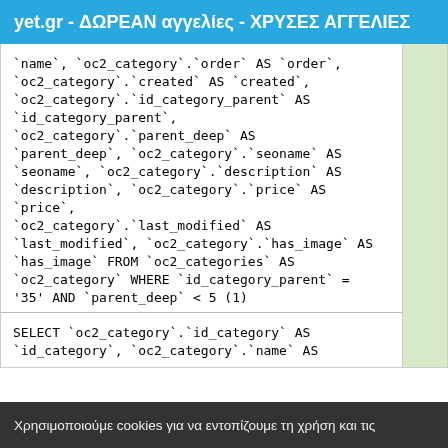yet.gr - ΔΩΡΕΑΝ αγγελίες - ΧΡΥΣΕΣ ΑΓΓΕΛΙΕΣ
`name`, `oc2_category`.`order` AS `order`, `oc2_category`.`created` AS `created`, `oc2_category`.`id_category_parent` AS `id_category_parent`, `oc2_category`.`parent_deep` AS `parent_deep`, `oc2_category`.`seoname` AS `seoname`, `oc2_category`.`description` AS `description`, `oc2_category`.`price` AS `price`, `oc2_category`.`last_modified` AS `last_modified`, `oc2_category`.`has_image` AS `has_image` FROM `oc2_categories` AS `oc2_category` WHERE `id_category_parent` = '35' AND `parent_deep` < 5 (1)
SELECT `oc2_category`.`id_category` AS `id_category`, `oc2_category`.`name` AS
Χρησιμοποιούμε cookies για να εντοπίζουμε τη χρήση και τις